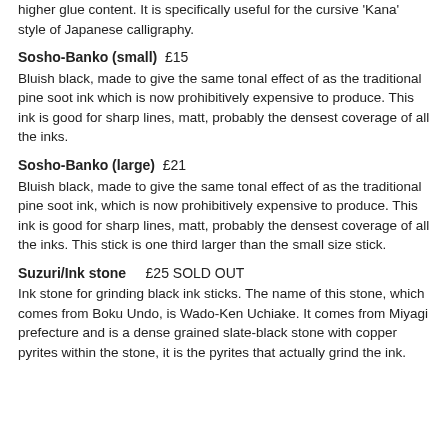higher glue content. It is specifically useful for the cursive 'Kana' style of Japanese calligraphy.
Sosho-Banko (small)  £15
Bluish black, made to give the same tonal effect of as the traditional pine soot ink which is now prohibitively expensive to produce. This ink is good for sharp lines, matt, probably the densest coverage of all the inks.
Sosho-Banko (large)  £21
Bluish black, made to give the same tonal effect of as the traditional pine soot ink, which is now prohibitively expensive to produce. This ink is good for sharp lines, matt, probably the densest coverage of all the inks. This stick is one third larger than the small size stick.
Suzuri/Ink stone  £25 SOLD OUT
Ink stone for grinding black ink sticks. The name of this stone, which comes from Boku Undo, is Wado-Ken Uchiake. It comes from Miyagi prefecture and is a dense grained slate-black stone with copper pyrites within the stone, it is the pyrites that actually grind the ink.